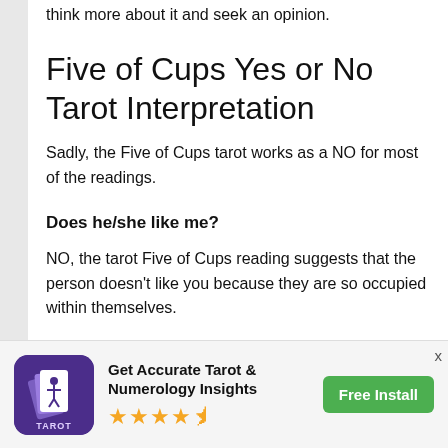think more about it and seek an opinion.
Five of Cups Yes or No Tarot Interpretation
Sadly, the Five of Cups tarot works as a NO for most of the readings.
Does he/she like me?
NO, the tarot Five of Cups reading suggests that the person doesn't like you because they are so occupied within themselves.
Will my relationship last?
[Figure (screenshot): App advertisement banner: Get Accurate Tarot & Numerology Insights, 4.5 star rating, Free Install button, with tarot app icon]